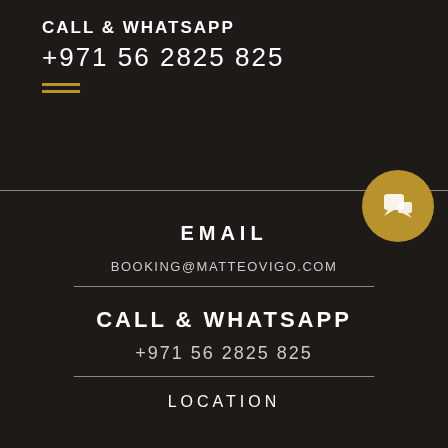CALL & WHATSAPP
+971 56 2825 825
EMAIL
BOOKING@MATTEOVIGO.COM
CALL & WHATSAPP
+971 56 2825 825
LOCATION